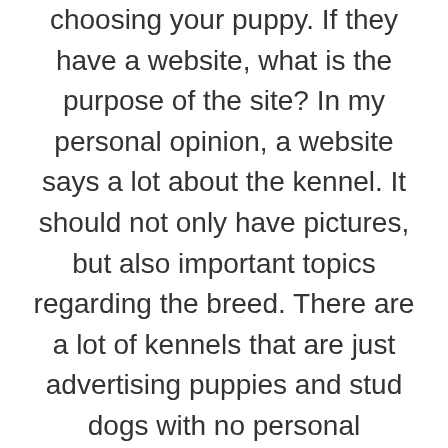choosing your puppy. If they have a website, what is the purpose of the site? In my personal opinion, a website says a lot about the kennel. It should not only have pictures, but also important topics regarding the breed. There are a lot of kennels that are just advertising puppies and stud dogs with no personal information about themselves or the dogs. Also, they have several dog breeds for sale and usually will not have many photos and the photos they do have show the puppies either in